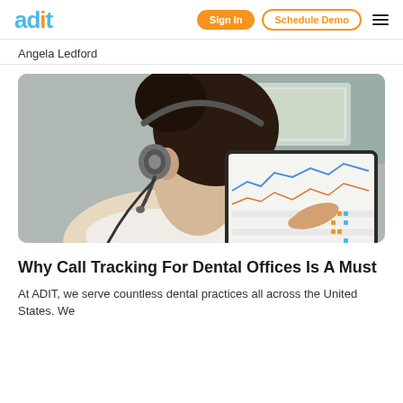adit | Sign In | Schedule Demo
Angela Ledford
[Figure (photo): Person wearing a headset, pointing at a tablet showing charts and data tables]
Why Call Tracking For Dental Offices Is A Must
At ADIT, we serve countless dental practices all across the United States. We